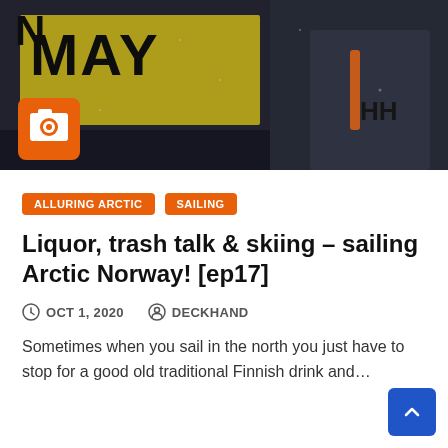[Figure (photo): Outdoor photo showing a person in a dark Helly Hansen jacket in wet/snowy conditions, with a yellow sign reading 'MAY' in background. Orange camera icon overlay in lower left.]
ALLURING ARCTIC
SAILING
Liquor, trash talk & skiing – sailing Arctic Norway! [ep17]
OCT 1, 2020   DECKHAND
Sometimes when you sail in the north you just have to stop for a good old traditional Finnish drink and…